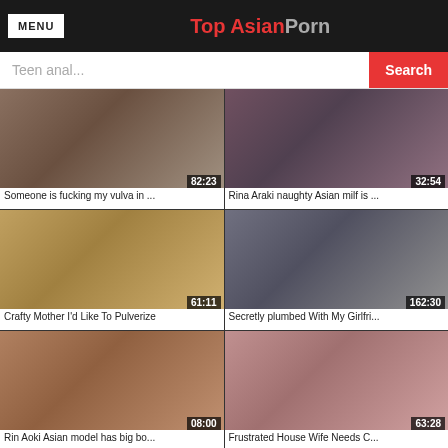MENU | Top AsianPorn
Teen anal... Search
[Figure (screenshot): Video thumbnail grid with 6 adult video thumbnails, each showing a duration timestamp and a title below]
Someone is fucking my vulva in ...
Rina Araki naughty Asian milf is ...
Crafty Mother I'd Like To Pulverize
Secretly plumbed With My Girlfri...
Rin Aoki Asian model has big bo...
Frustrated House Wife Needs C...